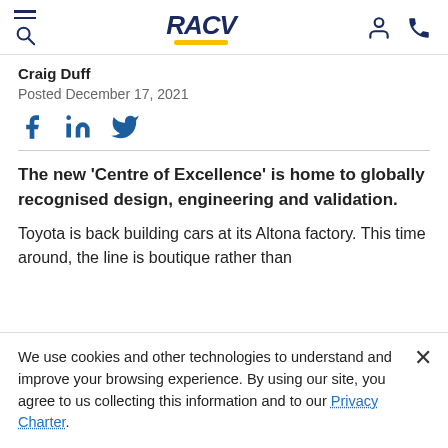RACV
Craig Duff
Posted December 17, 2021
[Figure (other): Social share icons: Facebook, LinkedIn, Twitter]
The new ‘Centre of Excellence’ is home to globally recognised design, engineering and validation.
Toyota is back building cars at its Altona factory. This time around, the line is boutique rather than
We use cookies and other technologies to understand and improve your browsing experience. By using our site, you agree to us collecting this information and to our Privacy Charter.